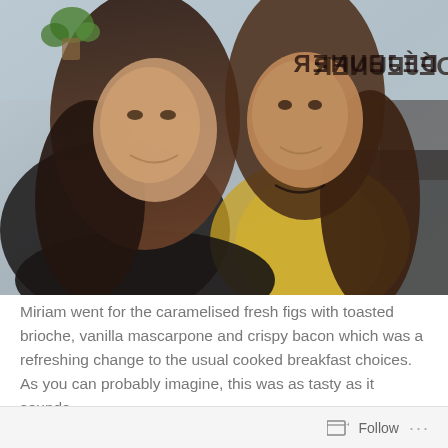[Figure (photo): Two young women smiling together in a cafe or restaurant setting. The woman on the left has long dark hair and wears a black top. The woman on the right has long brown hair and wears a yellow floral/lemon-print top with a dark necklace. In the background, there is a reversed/mirror-image sign that appears to read 'DÉJEUNER' or similar French text, and a potted plant is visible in the upper left corner.]
Miriam went for the caramelised fresh figs with toasted brioche, vanilla mascarpone and crispy bacon which was a refreshing change to the usual cooked breakfast choices. As you can probably imagine, this was as tasty as it sounds.
Follow ···